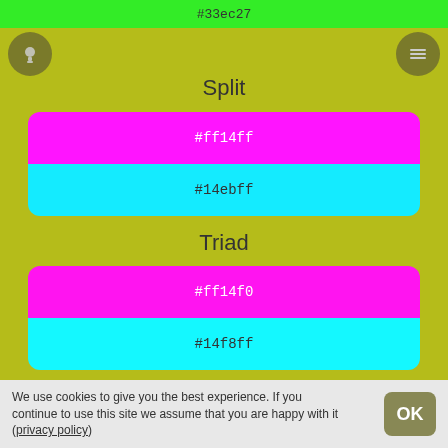#33ec27
Split
#ff14ff
#14ebff
Triad
#ff14f0
#14f8ff
Square
#14fcff
#148bff
#ff144d
Tetradic
We use cookies to give you the best experience. If you continue to use this site we assume that you are happy with it (privacy policy)